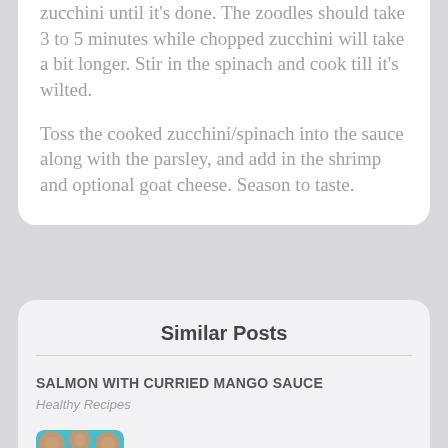zucchini until it's done. The zoodles should take 3 to 5 minutes while chopped zucchini will take a bit longer. Stir in the spinach and cook till it's wilted.
Toss the cooked zucchini/spinach into the sauce along with the parsley, and add in the shrimp and optional goat cheese. Season to taste.
Similar Posts
SALMON WITH CURRIED MANGO SAUCE — Healthy Recipes
CARROT AND BEETROOT MUFFINS